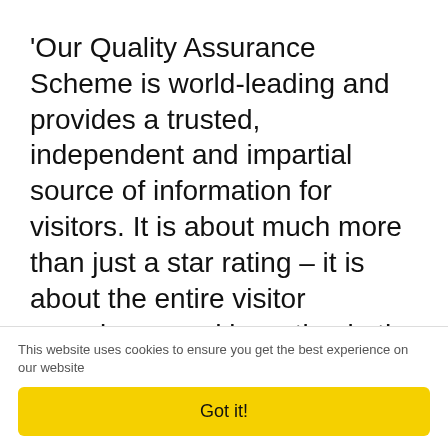'Our Quality Assurance Scheme is world-leading and provides a trusted, independent and impartial source of information for visitors. It is about much more than just a star rating – it is about the entire visitor experience and investing in the business to make it as economically sustainable, and profitable, as it can be.'
To learn more about Pant Farmhouse, go to www.pantfarmhouse.com
This website uses cookies to ensure you get the best experience on our website
Got it!